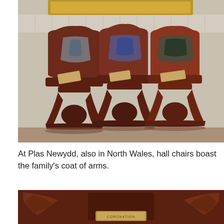[Figure (photo): Three dark mahogany hall chairs with shield-shaped backs displaying family coats of arms, arranged against a tiled wall. Each chair has a small decorative item on its seat.]
At Plas Newydd, also in North Wales, hall chairs boast the family's coat of arms.
[Figure (photo): Close-up of a carved wooden panel or chair back featuring heraldic imagery including lions and a central plaque with text.]